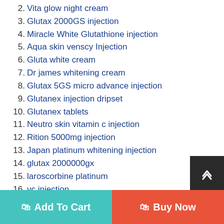2. Vita glow night cream
3. Glutax 2000GS injection
4. Miracle White Glutathione injection
5. Aqua skin venscy Injection
6. Gluta white cream
7. Dr james whitening cream
8. Glutax 5GS micro advance injection
9. Glutanex injection dripset
10. Glutanex tablets
11. Neutro skin vitamin c injection
12. Rition 5000mg injection
13. Japan platinum whitening injection
14. glutax 2000000gx
15. laroscorbine platinum
16. vc injection
17. cindella injection luthione gluathione
18. Lipo Lab injection for skin whitening